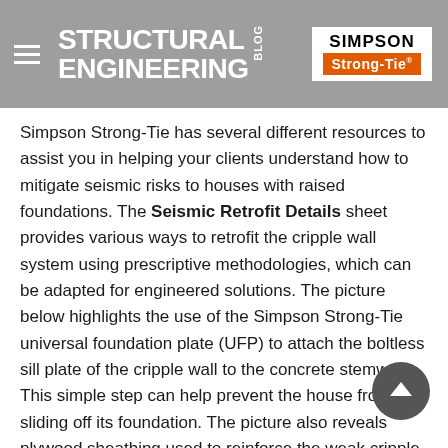STRUCTURAL ENGINEERING BLOG — Simpson Strong-Tie
Simpson Strong-Tie has several different resources to assist you in helping your clients understand how to mitigate seismic risks to houses with raised foundations. The Seismic Retrofit Details sheet provides various ways to retrofit the cripple wall system using prescriptive methodologies, which can be adapted for engineered solutions. The picture below highlights the use of the Simpson Strong-Tie universal foundation plate (UFP) to attach the boltless sill plate of the cripple wall to the concrete stemwall. This simple step can help prevent the house from sliding off its foundation. The picture also reveals plywood sheathing used to reinforce the weak cripple wall system. Additional resources for retrofit can be found